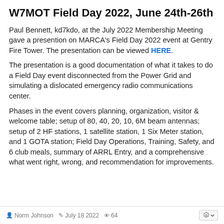W7MOT Field Day 2022, June 24th-26th
Paul Bennett, kd7kdo, at the July 2022 Membership Meeting gave a presention on MARCA's Field Day 2022 event at Gentry Fire Tower. The presentation can be viewed HERE.
The presentation is a good documentation of what it takes to do a Field Day event disconnected from the Power Grid and simulating a dislocated emergency radio communications center.
Phases in the event covers planning, organization, visitor & welcome table; setup of 80, 40, 20, 10, 6M beam antennas; setup of 2 HF stations, 1 satellite station, 1 Six Meter station, and 1 GOTA station; Field Day Operations, Training, Safety, and 6 club meals, summary of ARRL Entry, and a comprehensive what went right, wrong, and recommendation for improvements.
Norm Johnson  July 18 2022  64